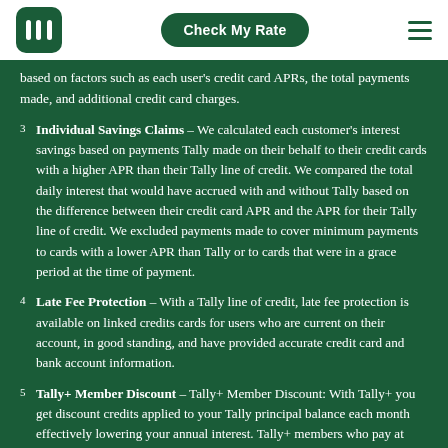Tally logo | Check My Rate | Menu
based on factors such as each user's credit card APRs, the total payments made, and additional credit card charges.
3 Individual Savings Claims – We calculated each customer's interest savings based on payments Tally made on their behalf to their credit cards with a higher APR than their Tally line of credit. We compared the total daily interest that would have accrued with and without Tally based on the difference between their credit card APR and the APR for their Tally line of credit. We excluded payments made to cover minimum payments to cards with a lower APR than Tally or to cards that were in a grace period at the time of payment.
4 Late Fee Protection – With a Tally line of credit, late fee protection is available on linked credits cards for users who are current on their account, in good standing, and have provided accurate credit card and bank account information.
5 Tally+ Member Discount – Tally+ Member Discount: With Tally+ you get discount credits applied to your Tally principal balance each month effectively lowering your annual interest. Tally+ members who pay at least the Tally minimum on time each month receive the discount.